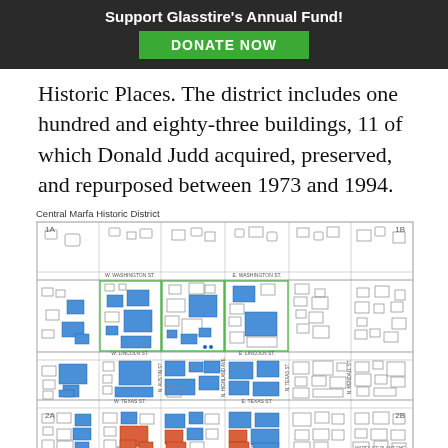Support Glasstire's Annual Fund! DONATE NOW
Historic Places. The district includes one hundred and eighty-three buildings, 11 of which Donald Judd acquired, preserved, and repurposed between 1973 and 1994.
[Figure (map): Central Marfa Historic District map showing city blocks with blue and orange highlighted buildings, labeled with block numbers 1A, 1B, 2A, 2B and street names including W. Washington St., E. Washington St., W. Lincoln St., E. Lincoln St., W. Texas St., E. Texas St., W. Oak St., E. Oak St., N. Austin St., N. Highland Ave., N. Texas St., N. Mendall St., Marfa Ice Plant area.]